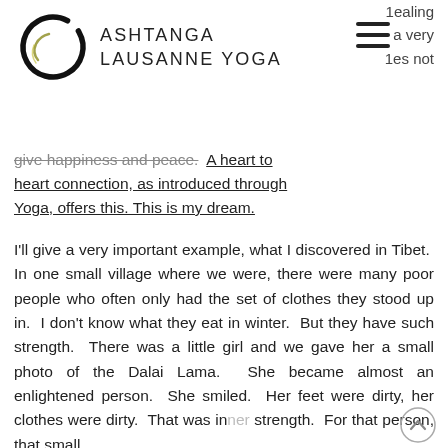[Figure (logo): Ashtanga Lausanne Yoga circular ensō logo with brand name text]
healing
a very
les not
give happiness and peace.  A heart to heart connection, as introduced through Yoga, offers this.  This is my dream.
I'll give a very important example, what I discovered in Tibet.  In one small village where we were, there were many poor people who often only had the set of clothes they stood up in.  I don't know what they eat in winter.  But they have such strength.  There was a little girl and we gave her a small photo of the Dalai Lama.  She became almost an enlightened person.  She smiled.  Her feet were dirty, her clothes were dirty.  That was inner strength.  For that person, that small